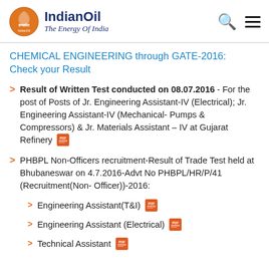[Figure (logo): IndianOil logo with orange flame circle icon and tagline 'The Energy Of India']
CHEMICAL ENGINEERING through GATE-2016: Check your Result
Result of Written Test conducted on 08.07.2016 - For the post of Posts of Jr. Engineering Assistant-IV (Electrical); Jr. Engineering Assistant-IV (Mechanical- Pumps & Compressors) & Jr. Materials Assistant – IV at Gujarat Refinery [PDF]
PHBPL Non-Officers recruitment-Result of Trade Test held at Bhubaneswar on 4.7.2016-Advt No PHBPL/HR/P/41 (Recruitment(Non-Officer))-2016:
Engineering Assistant(T&I) [PDF]
Engineering Assistant (Electrical) [PDF]
Technical Assistant [PDF]